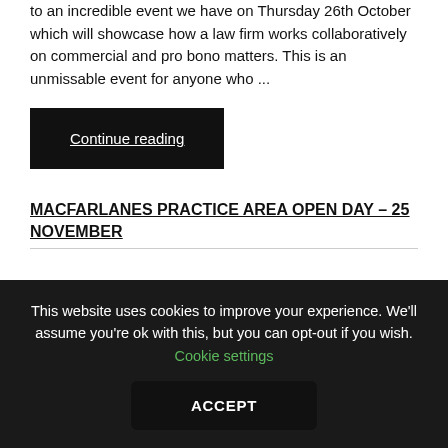to an incredible event we have on Thursday 26th October which will showcase how a law firm works collaboratively on commercial and pro bono matters. This is an unmissable event for anyone who ...
Continue reading
MACFARLANES PRACTICE AREA OPEN DAY – 25 NOVEMBER
This website uses cookies to improve your experience. We'll assume you're ok with this, but you can opt-out if you wish. Cookie settings
ACCEPT